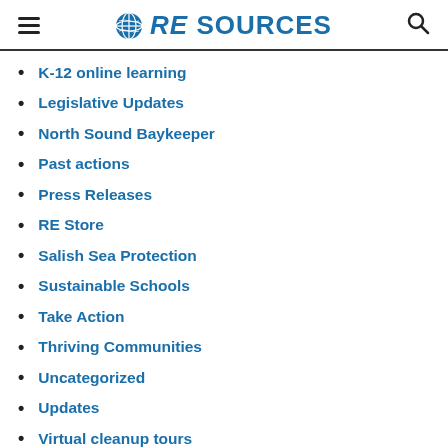RE SOURCES
K-12 online learning
Legislative Updates
North Sound Baykeeper
Past actions
Press Releases
RE Store
Salish Sea Protection
Sustainable Schools
Take Action
Thriving Communities
Uncategorized
Updates
Virtual cleanup tours
Watershed Health